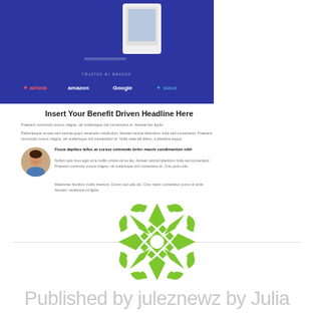[Figure (screenshot): Screenshot of a website landing page with dark blue/purple background showing a product device, 'Trusted by brands' bar with logos: airbnb, amazon, Google, slack]
Insert Your Benefit Driven Headline Here
Praesent commodo cursus magna, vel scelerisque nisl consectetur et. Aenean leo ligula.
Pellentesque ornare sem lacinia quam venenatis vestibulum. Aenean lacinia bibendum nulla sed consectetur. Praesent commodo cursus magna, vel scelerisque nisl consectetur et. Aulla vitae elit libero, a pharetra augue.
[Figure (photo): Circular avatar photo of a smiling man]
Fusce dapibus tellus ac cursus commodo tortor mauris condimentum nibh
Nullam quis risus eget urna mollis ornare vel eu leo. Aenean lacinia bibendum nulla sed consectetur. Praesent commodo cursus magna, vel scelerisque nisl consectetur et. Cras justo odio.
Maecenas faucibus mollis interdum. Donec sed odio dui. Cras mattis consectetur purus sit amet. Aenean. vestibulum id ligula.
[Figure (logo): Green snowflake/geometric decorative logo mark]
Published by juleznewz by Julia